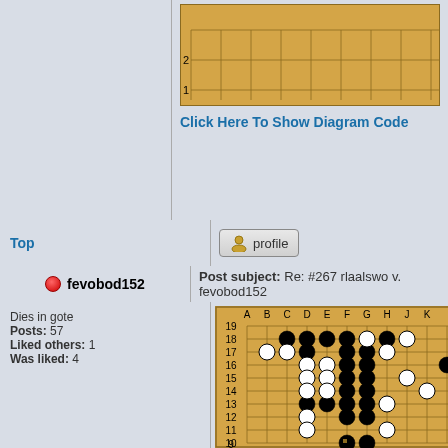[Figure (other): Go board diagram top snippet showing rows 1-2 with grid lines on orange/tan board background]
Click Here To Show Diagram Code
Top
[Figure (other): Profile button with person icon]
fevobod152
Post subject: Re: #267 rlaalswo v. fevobod152
Dies in gote
Posts: 57
Liked others: 1
Was liked: 4
[Figure (other): Go board diagram showing a game position with black and white stones, rows 9-19, columns A-K visible]